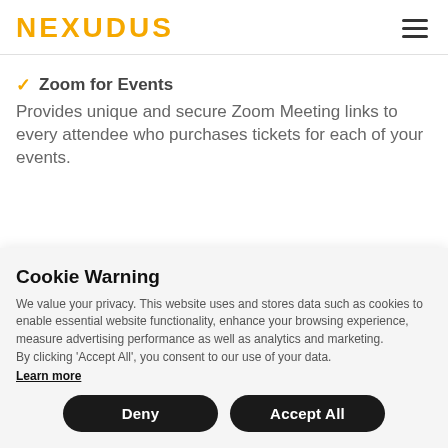NEXUDUS
✓ Zoom for Events
Provides unique and secure Zoom Meeting links to every attendee who purchases tickets for each of your events.
Cookie Warning
We value your privacy. This website uses and stores data such as cookies to enable essential website functionality, enhance your browsing experience, measure advertising performance as well as analytics and marketing.
By clicking 'Accept All', you consent to our use of your data.
Learn more
Deny  Accept All